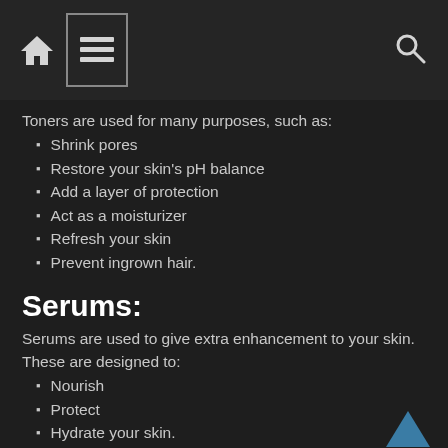Navigation bar with home, menu, and search icons
Toners are used for many purposes, such as:
Shrink pores
Restore your skin's pH balance
Add a layer of protection
Act as a moisturizer
Refresh your skin
Prevent ingrown hair.
Serums:
Serums are used to give extra enhancement to your skin. These are designed to:
Nourish
Protect
Hydrate your skin.